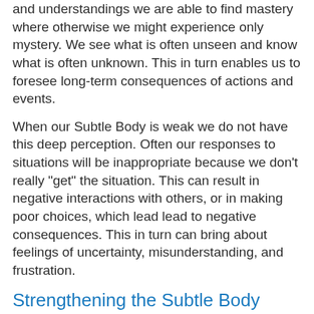and understandings we are able to find mastery where otherwise we might experience only mystery. We see what is often unseen and know what is often unknown. This in turn enables us to foresee long-term consequences of actions and events.
When our Subtle Body is weak we do not have this deep perception. Often our responses to situations will be inappropriate because we don't really "get" the situation. This can result in negative interactions with others, or in making poor choices, which lead lead to negative consequences. This in turn can bring about feelings of uncertainty, misunderstanding, and frustration.
Strengthening the Subtle Body
We strengthen our Subtle Body by practicing a meditation—
[Figure (photo): Photo of a golden temple (likely the Golden Temple in Amritsar) reflected in surrounding water, with ornate architecture and a blue sky background, crowds of people visible near the water's edge.]